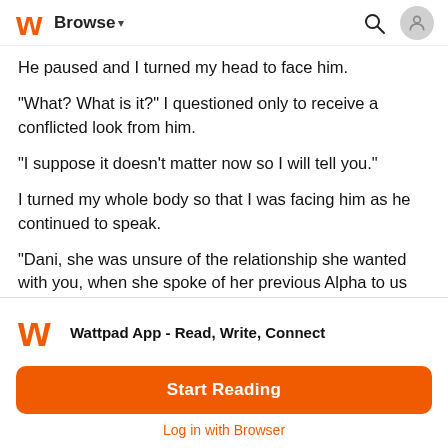Browse ▾
He paused and I turned my head to face him.
"What? What is it?" I questioned only to receive a conflicted look from him.
"I suppose it doesn't matter now so I will tell you."
I turned my whole body so that I was facing him as he continued to speak.
"Dani, she was unsure of the relationship she wanted with you, when she spoke of her previous Alpha to us we were sure that she resented you. When she became a part of this pack we all
[Figure (logo): Wattpad orange W logo]
Wattpad App - Read, Write, Connect
Start Reading
Log in with Browser